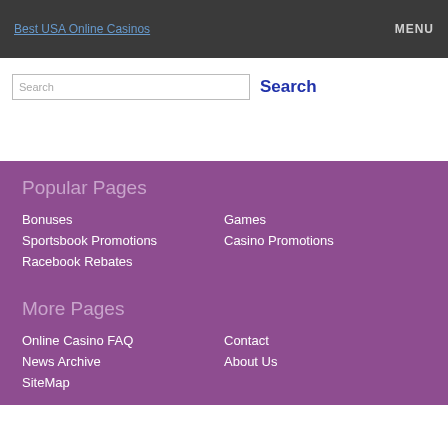Best USA Online Casinos | MENU
Search | Search
Popular Pages
Bonuses
Games
Sportsbook Promotions
Casino Promotions
Racebook Rebates
More Pages
Online Casino FAQ
Contact
News Archive
About Us
SiteMap